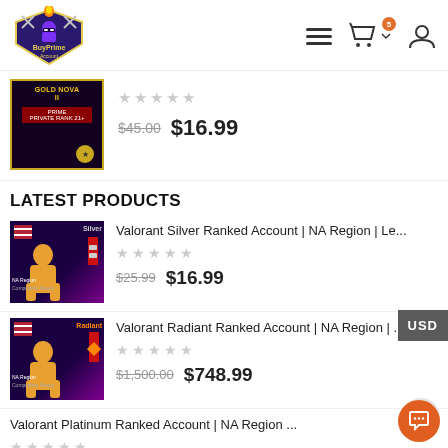BuyPrime Account — navigation header with logo, menu, cart, and account icons
[Figure (screenshot): Partial product card showing a CSGO Gold Nova II Prime account image, star rating, original price $45.00, sale price $16.99]
LATEST PRODUCTS
[Figure (photo): Valorant Silver ranked account thumbnail, NA Region, silver rank badge, US flag]
Valorant Silver Ranked Account | NA Region | Le...
$25.99  $16.99
[Figure (photo): Valorant Radiant ranked account thumbnail, NA Region, radiant badge, US flag]
Valorant Radiant Ranked Account | NA Region | ...
$1,500.00  $748.99
Valorant Platinum Ranked Account | NA Region ...
$75.00  $43.99